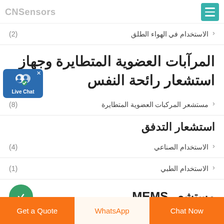CNSensors
الاستخدام في الهواء الطلق (2)
المرآبات العضوية المتطايرة وجهاز استشعار رائحة النفس
مستشعر المركبات العضوية المتطايرة (8)
استشعار التدفق
الاستخدام الصناعي (4)
الاستخدام الطبي (1)
مستشعر MEMS